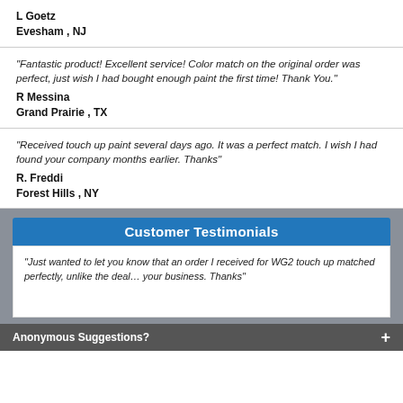L Goetz
Evesham , NJ
"Fantastic product! Excellent service! Color match on the original order was perfect, just wish I had bought enough paint the first time! Thank You."
R Messina
Grand Prairie , TX
"Received touch up paint several days ago. It was a perfect match. I wish I had found your company months earlier. Thanks"
R. Freddi
Forest Hills , NY
Customer Testimonials
"Just wanted to let you know that an order I received for WG2 touch up matched perfectly, unlike the deal... your business. Thanks"
Anonymous Suggestions?